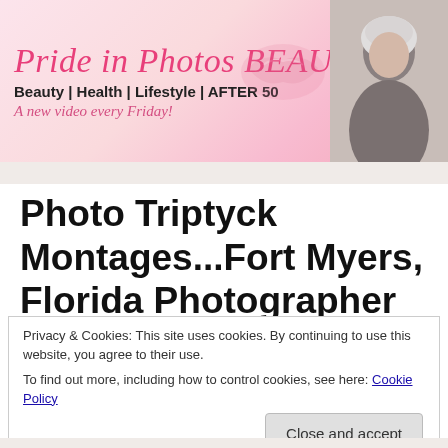[Figure (illustration): Website banner for 'Pride in Photos BEAUTY' blog with pink gradient background, decorative lips graphic, title text, subtitle, tagline, and a portrait photo of a silver-haired woman on the right.]
Photo Triptyck Montages...Fort Myers, Florida Photographer
[Figure (illustration): Cursive script signature reading 'Nolan']
Privacy & Cookies: This site uses cookies. By continuing to use this website, you agree to their use.
To find out more, including how to control cookies, see here: Cookie Policy